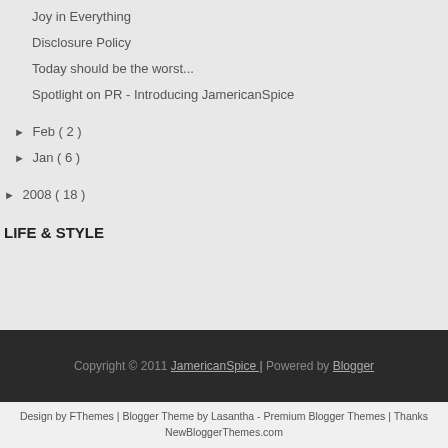Joy in Everything
Disclosure Policy
Today should be the worst...
Spotlight on PR - Introducing JamericanSpice
► Feb ( 2 )
► Jan ( 6 )
► 2008 ( 18 )
LIFE & STYLE
Copyright © 2011 JamericanSpice | Powered by Blogger
Design by FThemes | Blogger Theme by Lasantha - Premium Blogger Themes | Thanks NewBloggerThemes.com